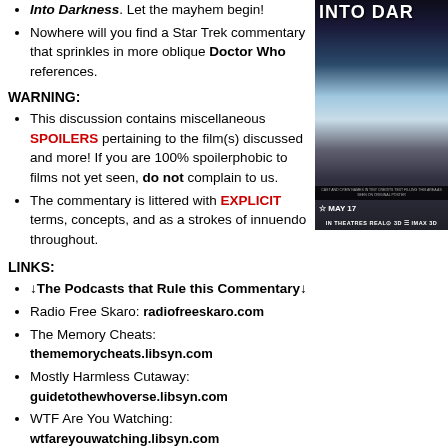Into Darkness. Let the mayhem begin!
Nowhere will you find a Star Trek commentary that sprinkles in more oblique Doctor Who references.
WARNING:
This discussion contains miscellaneous SPOILERS pertaining to the film(s) discussed and more! If you are 100% spoilerphobic to films not yet seen, do not complain to us.
The commentary is littered with EXPLICIT terms, concepts, and as a strokes of innuendo throughout.
LINKS:
↓The Podcasts that Rule this Commentary↓
Radio Free Skaro: radiofreeskaro.com
The Memory Cheats: thememorrycheats.libsyn.com
Mostly Harmless Cutaway: guidetothewhoverse.libsyn.com
WTF Are You Watching: wtfareyouwatching.libsyn.com
Doctor Who: The Writers' Room: dwtwr.libsyn.com
DISCLAIMER:
[Figure (photo): Star Trek Into Darkness movie poster showing a figure and space/city background with title text and format listings (IMAX 3D, 3D, REAL D)]